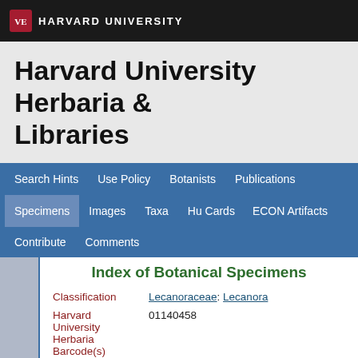HARVARD UNIVERSITY
Harvard University Herbaria & Libraries
Search Hints  Use Policy  Botanists  Publications  Specimens  Images  Taxa  Hu Cards  ECON Artifacts  Contribute  Comments
Index of Botanical Specimens
| Field | Value |
| --- | --- |
| Classification | Lecanoraceae: Lecanora |
| Harvard University Herbaria Barcode(s) | 01140458 |
| Collector | F. McKechnie |
| Country | United States of America |
| State | Alaska |
| Geography | North America: North America (CA, US, MX) (Region): United States of America: Alaska |